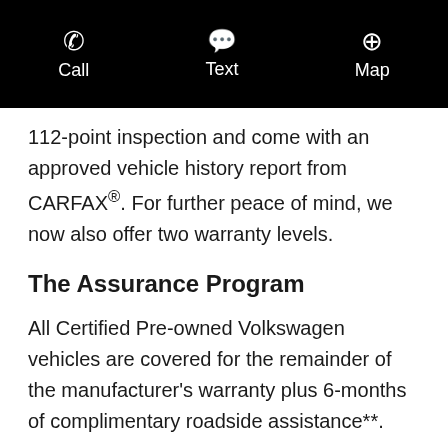Call  Text  Map
112-point inspection and come with an approved vehicle history report from CARFAX®. For further peace of mind, we now also offer two warranty levels.
The Assurance Program
All Certified Pre-owned Volkswagen vehicles are covered for the remainder of the manufacturer's warranty plus 6-months of complimentary roadside assistance**.
Vehicle Inspection
Certified Inventory